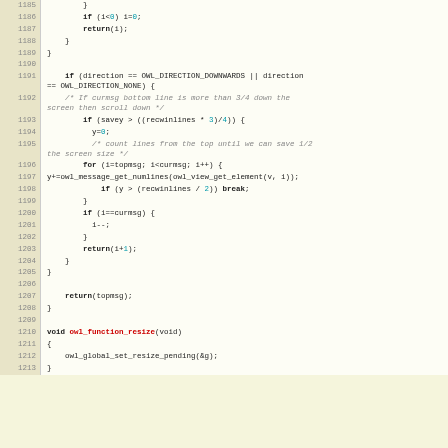[Figure (screenshot): Source code viewer showing C code lines 1185-1213 with syntax highlighting. Line numbers in beige left column, code in light cream right area. Keywords bold, numbers in teal, function names in red, comments in gray italic.]